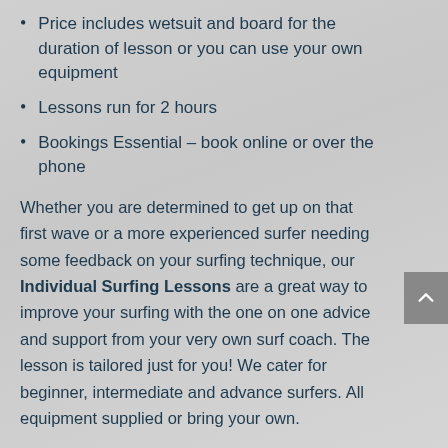Price includes wetsuit and board for the duration of lesson or you can use your own equipment
Lessons run for 2 hours
Bookings Essential – book online or over the phone
Whether you are determined to get up on that first wave or a more experienced surfer needing some feedback on your surfing technique, our Individual Surfing Lessons are a great way to improve your surfing with the one on one advice and support from your very own surf coach. The lesson is tailored just for you! We cater for beginner, intermediate and advance surfers. All equipment supplied or bring your own.
Our Individual Surfing Lessons give you everything you need to know about getting in